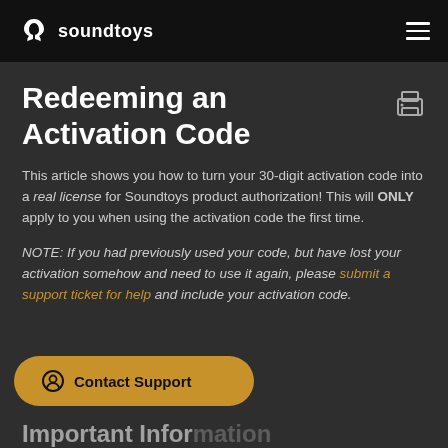soundtoys
Redeeming an Activation Code
This article shows you how to turn your 30-digit activation code into a real license for Soundtoys product authorization! This will ONLY apply to you when using the activation code the first time.
NOTE: If you had previously used your code, but have lost your activation somehow and need to use it again, please submit a support ticket for help and include your activation code.
Contact Support
Important Information